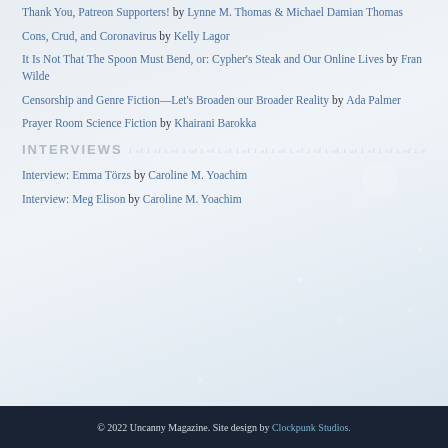Thank You, Patreon Supporters! by Lynne M. Thomas & Michael Damian Thomas
Cons, Crud, and Coronavirus by Kelly Lagor
It Is Not That The Spoon Must Bend, or: Cypher's Steak and Our Online Lives by Fran Wilde
Censorship and Genre Fiction—Let's Broaden our Broader Reality by Ada Palmer
Prayer Room Science Fiction by Khairani Barokka
INTERVIEWS
Interview: Emma Törzs by Caroline M. Yoachim
Interview: Meg Elison by Caroline M. Yoachim
© 2022 Uncanny Magazine. Site design by Clockpunk Studios.